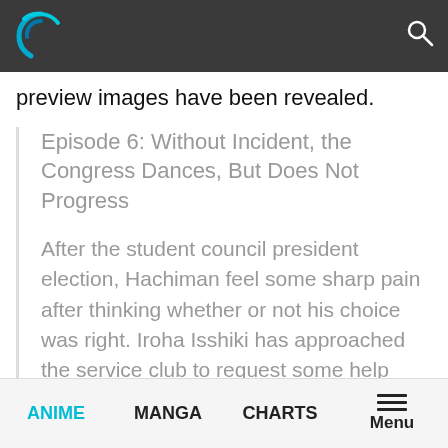[Figure (logo): Circular swirl logo in blue/teal on dark gray navigation bar, with a search icon on the right]
preview images have been revealed.
Episode 6: Without Incident, the Congress Dances, But Does Not Progress
After the student council president election, Hachiman feel some sharp pain after thinking whether or not his choice was right. Iroha Isshiki has approached the service club to request some help with setting up a joint Christmas event with another school. Yukino and Yui begin to...
ANIME   MANGA   CHARTS   Menu